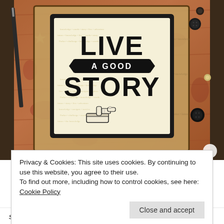[Figure (photo): A crafted card with the text 'LIVE A GOOD STORY' in bold black lettering on a vintage newspaper background, framed in dark material, surrounded by buttons and craft materials on a wooden surface.]
Privacy & Cookies: This site uses cookies. By continuing to use this website, you agree to their use.
To find out more, including how to control cookies, see here: Cookie Policy
Close and accept
script stamp and sponged a little Suede  in the center and